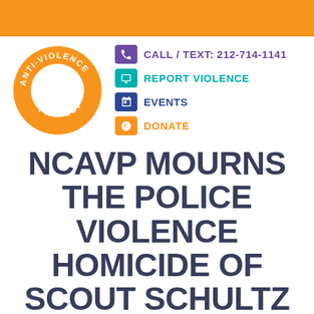[Figure (logo): Anti-Violence Project circular orange logo with white ring and text]
CALL / TEXT: 212-714-1141
REPORT VIOLENCE
EVENTS
DONATE
NCAVP MOURNS THE POLICE VIOLENCE HOMICIDE OF SCOUT SCHULTZ IN ATLANTA, GA